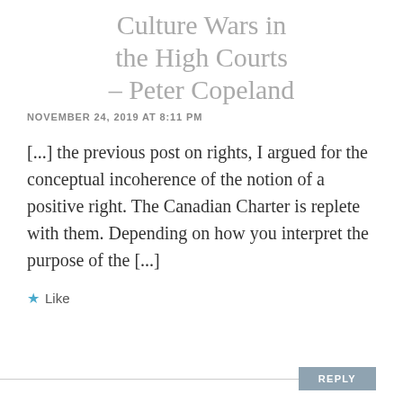Culture Wars in the High Courts – Peter Copeland
NOVEMBER 24, 2019 AT 8:11 PM
[...] the previous post on rights, I argued for the conceptual incoherence of the notion of a positive right. The Canadian Charter is replete with them. Depending on how you interpret the purpose of the [...]
★ Like
REPLY